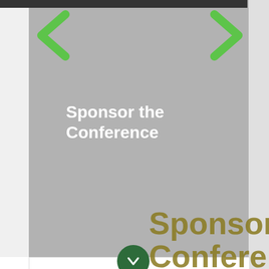[Figure (screenshot): Website screenshot showing a conference sponsorship page with a gray hero banner displaying 'Sponsor the Conference' in white bold text, green navigation arrow buttons on left and right, a white section below with a green circle chevron-down button, and a dark cookie consent overlay with text about cookies and a yellow Accept button. Background shows 'Sponsor the Conference' text in olive/dark gold color.]
Sponsor the Conference
We use cookies on this website to give you a better user experience. By continuing to browse the site, you are agreeing to our use of cookies.  Learn more
Accept